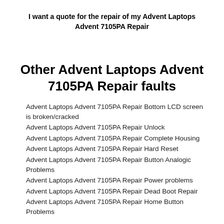I want a quote for the repair of my Advent Laptops Advent 7105PA Repair
Other Advent Laptops Advent 7105PA Repair faults
Advent Laptops Advent 7105PA Repair Bottom LCD screen is broken/cracked
Advent Laptops Advent 7105PA Repair Unlock
Advent Laptops Advent 7105PA Repair Complete Housing
Advent Laptops Advent 7105PA Repair Hard Reset
Advent Laptops Advent 7105PA Repair Button Analogic Problems
Advent Laptops Advent 7105PA Repair Power problems
Advent Laptops Advent 7105PA Repair Dead Boot Repair
Advent Laptops Advent 7105PA Repair Home Button Problems